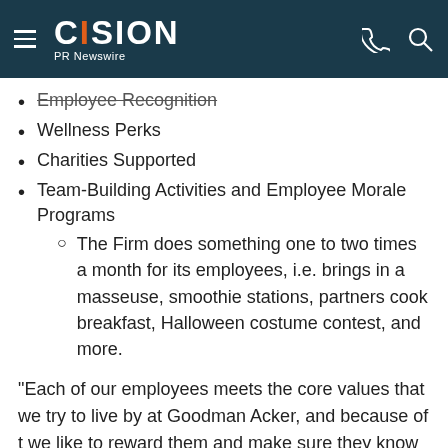CISION PR Newswire
Employee Recognition
Wellness Perks
Charities Supported
Team-Building Activities and Employee Morale Programs
The Firm does something one to two times a month for its employees, i.e. brings in a masseuse, smoothie stations, partners cook breakfast, Halloween costume contest, and more.
"Each of our employees meets the core values that we try to live by at Goodman Acker, and because of t we like to reward them and make sure they know